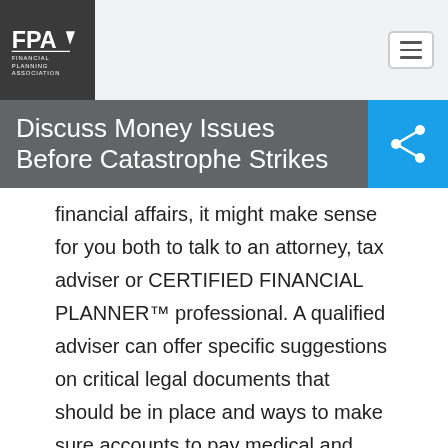[Figure (logo): FPA Financial Planning Association logo in white on dark background]
Discuss Money Issues Before Catastrophe Strikes
financial affairs, it might make sense for you both to talk to an attorney, tax adviser or CERTIFIED FINANCIAL PLANNER™ professional. A qualified adviser can offer specific suggestions on critical legal documents that should be in place and ways to make sure accounts to pay medical and household bills are accessible to the